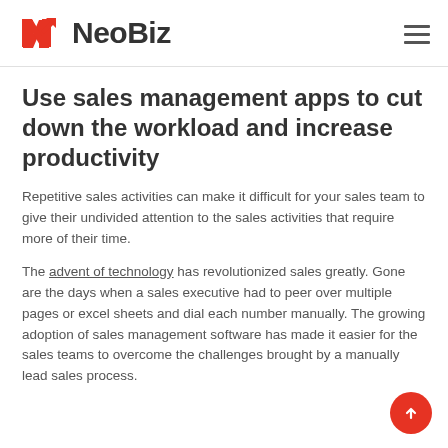NeoBiz
Use sales management apps to cut down the workload and increase productivity
Repetitive sales activities can make it difficult for your sales team to give their undivided attention to the sales activities that require more of their time.
The advent of technology has revolutionized sales greatly. Gone are the days when a sales executive had to peer over multiple pages or excel sheets and dial each number manually. The growing adoption of sales management software has made it easier for the sales teams to overcome the challenges brought by a manually lead sales process.